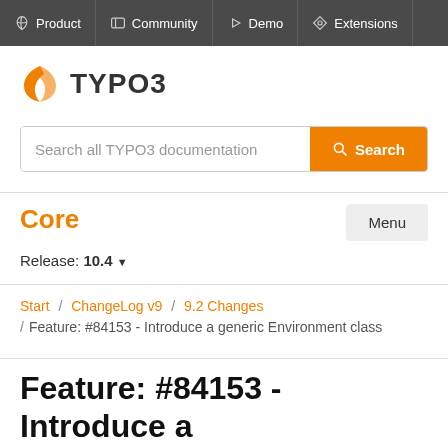Product  Community  Demo  Extensions
[Figure (logo): TYPO3 logo with orange wing-shaped icon and bold TYPO3 text]
Search all TYPO3 documentation  Search
Core
Menu
Release: 10.4
Start / ChangeLog v9 / 9.2 Changes / Feature: #84153 - Introduce a generic Environment class
Feature: #84153 - Introduce a